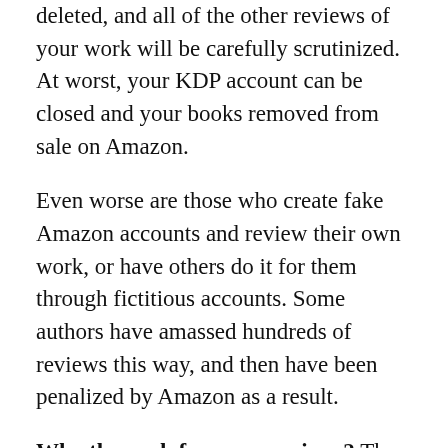deleted, and all of the other reviews of your work will be carefully scrutinized. At worst, your KDP account can be closed and your books removed from sale on Amazon.
Even worse are those who create fake Amazon accounts and review their own work, or have others do it for them through fictitious accounts. Some authors have amassed hundreds of reviews this way, and then have been penalized by Amazon as a result.
Why the push for more reviews? The simple fact of the matter is that Amazon weighs reviews heavily in rankings, and if a book has 50 or more mostly positive reviews, Amazon